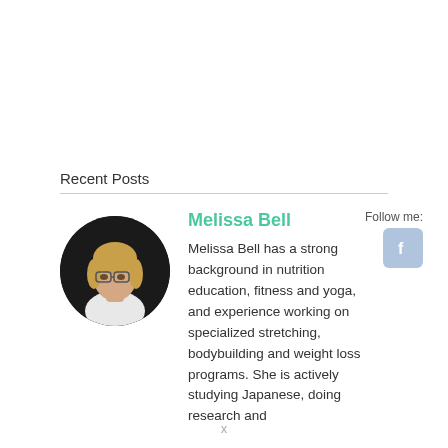Recent Posts
[Figure (photo): Circular profile photo of Melissa Bell, a woman with blonde hair and glasses wearing a white top, against a dark background.]
Melissa Bell
Follow me:
[Figure (logo): Facebook icon button, light blue-gray rounded square with white 'f' letter.]
Melissa Bell has a strong background in nutrition education, fitness and yoga, and experience working on specialized stretching, bodybuilding and weight loss programs. She is actively studying Japanese, doing research and